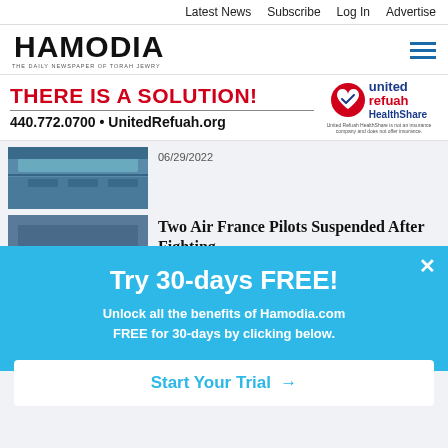Latest News  Subscribe  Log In  Advertise
[Figure (logo): Hamodia newspaper logo with Hebrew text and tagline 'THE DAILY NEWSPAPER OF TORAH JEWRY']
[Figure (infographic): United Refuah HealthShare advertisement: 'THERE IS A SOLUTION! 440.772.0700 • UnitedRefuah.org' with red heart logo and disclaimer text]
06/29/2022
[Figure (photo): Aerial photo of airport runways and terminal]
Two Air France Pilots Suspended After Fighting
[Figure (photo): Air France airplane tails at an airport]
[Figure (photo): Airport photo partially visible]
[Figure (infographic): Subscription popup: 'Try 30-days FREE! Unlock all the benefits of Hamodia.com FREE for 30-days by clicking below.' with 'Start Your Trial →' button]